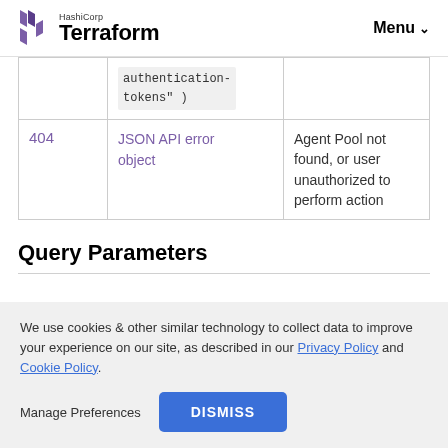HashiCorp Terraform — Menu
| Status | Response | Description |
| --- | --- | --- |
|  | authentication-tokens"  ) |  |
| 404 | JSON API error object | Agent Pool not found, or user unauthorized to perform action |
Query Parameters
We use cookies & other similar technology to collect data to improve your experience on our site, as described in our Privacy Policy and Cookie Policy.